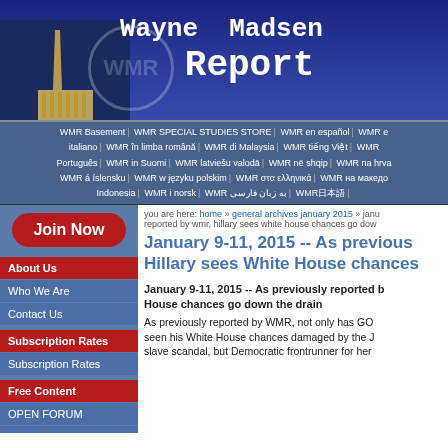[Figure (screenshot): Wayne Madsen Report website header banner with monument/building silhouette on left and site title text on dark blue background]
WMR Basement | WMR SPECIAL STUDIES STORE | WMR en español | WMR e italiano | WMR în limba română | WMR di Malaysia | WMR tiếng Việt | WMR w Português | WMR in Suomi | WMR latviešu valodā | WMR në shqip | WMR na hrva WMR á íslensku | WMR w języku polskim | WMR στα ελληνικά | WMR на македо Indonesia | WMR i norsk | WMR به زبان فارسی | WMR日本語
you are here: home » general archives january 2015 » janu reported by wmr, hillary sees white house chances go dow
January 9-11, 2015 -- As previous Hillary sees White House chances
Join Now
About Us
Who We Are
Contact Us
Subscription Rates
Subscription Rates
Free Content
OPEN FORUM
WMR BOOKSTORE
Our Favorite Links
January 9-11, 2015 -- As previously reported b House chances go down the drain
As previously reported by WMR, not only has GO seen his White House chances damaged by the J slave scandal, but Democratic frontrunner for her